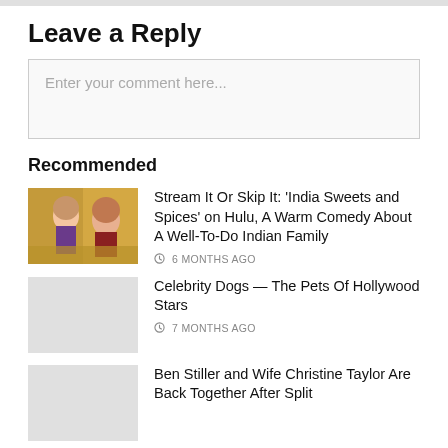Leave a Reply
Enter your comment here...
Recommended
Stream It Or Skip It: ‘India Sweets and Spices’ on Hulu, A Warm Comedy About A Well-To-Do Indian Family
6 MONTHS AGO
Celebrity Dogs — The Pets Of Hollywood Stars
7 MONTHS AGO
Ben Stiller and Wife Christine Taylor Are Back Together After Split